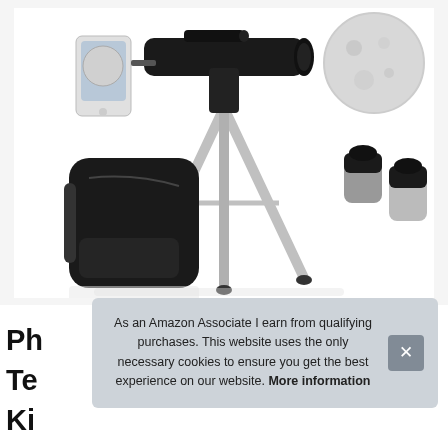[Figure (photo): Product photo of a telescope kit with tripod, backpack carry bag, eyepieces, smartphone mount, and moon image inset, on white background]
Ph
Te
Ki
As an Amazon Associate I earn from qualifying purchases. This website uses the only necessary cookies to ensure you get the best experience on our website. More information